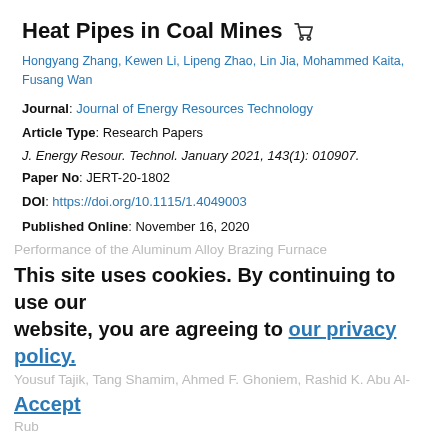Heat Pipes in Coal Mines
Hongyang Zhang, Kewen Li, Lipeng Zhao, Lin Jia, Mohammed Kaita, Fusang Wan
Journal: Journal of Energy Resources Technology
Article Type: Research Papers
J. Energy Resour. Technol. January 2021, 143(1): 010907.
Paper No: JERT-20-1802
DOI: https://doi.org/10.1115/1.4049003
Published Online: November 16, 2020
Abstract  View Article  PDF
Topics: Coal mining, Heat pipes, Heating, Temperature, Modeling, Thermal conductivity
JOURNAL ARTICLES
The Impact of Critical Operational Parameters on the Performance of the Aluminum Alloy Brazing Furnace
This site uses cookies. By continuing to use our website, you are agreeing to our privacy policy. Accept